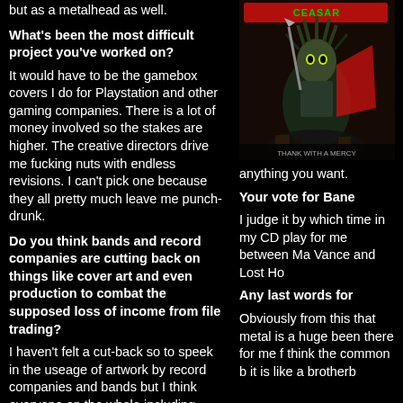but as a metalhead as well.
What's been the most difficult project you've worked on?
It would have to be the gamebox covers I do for Playstation and other gaming companies. There is a lot of money involved so the stakes are higher. The creative directors drive me fucking nuts with endless revisions. I can't pick one because they all pretty much leave me punch-drunk.
Do you think bands and record companies are cutting back on things like cover art and even production to combat the supposed loss of income from file trading?
I haven't felt a cut-back so to speek in the useage of artwork by record companies and bands but I think everyone on the whole including publishers have tightened their belt a bit.
[Figure (illustration): Album cover artwork showing a monster/demon warrior creature with weapons against a dark background, with a band logo at top]
anything you want.
Your vote for Bane
I judge it by which time in my CD play for me between Ma Vance and Lost Ho
Any last words for
Obviously from this that metal is a huge been there for me f think the common b it is like a brotherb